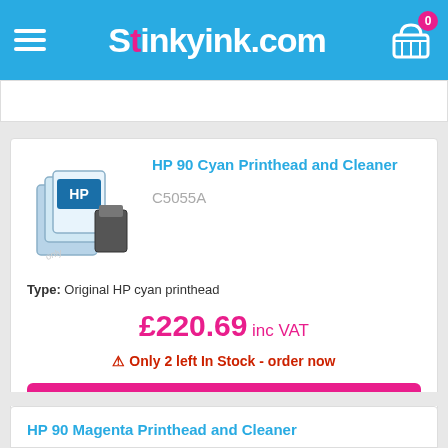Stinkyink.com
[Figure (screenshot): Product listing page from Stinkyink.com showing HP 90 Cyan Printhead and Cleaner (C5055A). Price: £220.69 inc VAT. Only 2 left In Stock - order now. Add to Basket button. Partial view of HP 90 Magenta Printhead and Cleaner below.]
HP 90 Cyan Printhead and Cleaner
C5055A
Type: Original HP cyan printhead
£220.69 inc VAT
⚠ Only 2 left In Stock - order now
Add to Basket
HP 90 Magenta Printhead and Cleaner